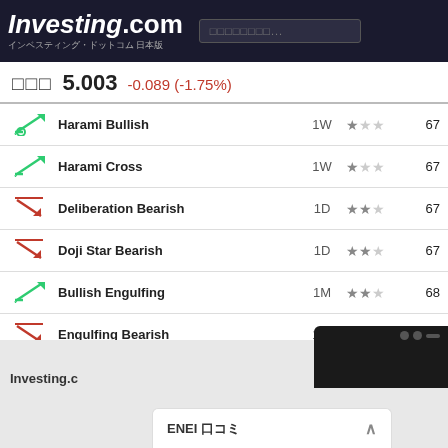Investing.com インベスティング・ドットコム 日本版
□□□ 5.003 -0.089 (-1.75%)
| Icon | Pattern | Timeframe | Stars | Score |
| --- | --- | --- | --- | --- |
| ↗✓ | Harami Bullish | 1W | ★☆☆ | 67 |
| ↗✓ | Harami Cross | 1W | ★☆☆ | 67 |
| ↘✗ | Deliberation Bearish | 1D | ★★☆ | 67 |
| ↘✗ | Doji Star Bearish | 1D | ★★☆ | 67 |
| ↗✓ | Bullish Engulfing | 1M | ★★☆ | 68 |
| ↘✗ | Engulfing Bearish | 1W | ★★☆ | 68 |
| ↘✗ | Hanging Man | 1W | ★☆☆ | 69 |
ENEI 口コミ
Investing.c